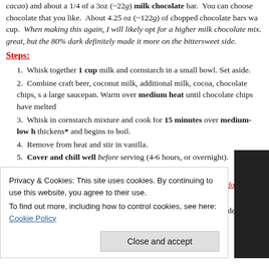cacao) and about a 1/4 of a 3oz (~22g) milk chocolate bar. You can choose chocolate that you like. About 4.25 oz (~122g) of chopped chocolate bars wa cup. When making this again, I will likely opt for a higher milk chocolate mix. great, but the 80% dark definitely made it more on the bittersweet side.
Steps:
1. Whisk together 1 cup milk and cornstarch in a small bowl. Set aside.
2. Combine craft beer, coconut milk, additional milk, cocoa, chocolate chips, s a large saucepan. Warm over medium heat until chocolate chips have melte
3. Whisk in cornstarch mixture and cook for 15 minutes over medium-low h thickens* and begins to boil.
4. Remove from heat and stir in vanilla.
5. Cover and chill well before serving (4-6 hours, or overnight).
6. Stir again prior to serving. Enjoy!
*Prep Note: If you double the recipe, you need to heat it longer… you don't want quicker… it may not thicken properly/consistently.
Photo Slideshow:
Privacy & Cookies: This site uses cookies. By continuing to use this website, you agree to their use. To find out more, including how to control cookies, see here: Cookie Policy
Close and accept